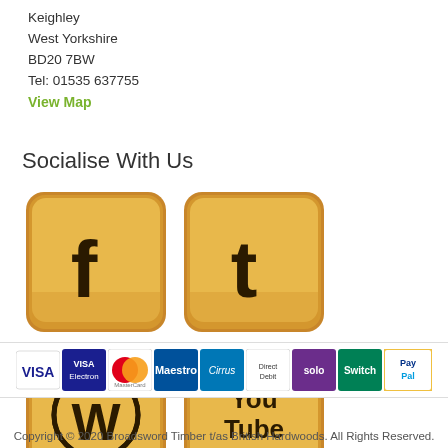Keighley
West Yorkshire
BD20 7BW
Tel: 01535 637755
View Map
Socialise With Us
[Figure (illustration): Four wooden square social media icon buttons: Facebook (f), Twitter (t), WordPress logo, YouTube logo]
[Figure (illustration): Payment method icons: VISA, VISA Electron, MasterCard, Maestro, Cirrus, Direct Debit, Solo, Switch, PayPal]
Copyright © 2020 Broadsword Timber t/as British Hardwoods. All Rights Reserved.